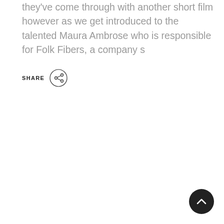they've come through with another short film however as we get introduced to the talented Maura Ambrose who is responsible for Folk Fibers, a company s
[Figure (illustration): SHARE label with a circular share icon (three connected dots) to the right]
[Figure (illustration): Dark circular back-to-top button with a white upward chevron arrow, positioned bottom-right]